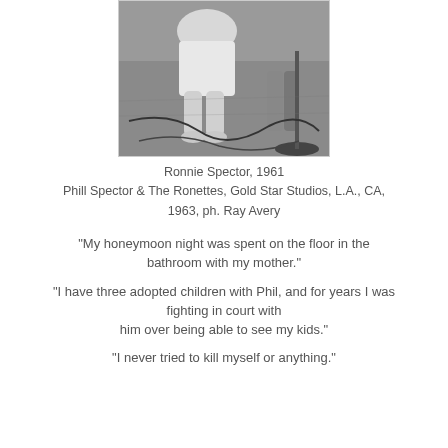[Figure (photo): Black and white photograph of a person seated, viewed from above, with microphone stand visible, floor with cables]
Ronnie Spector, 1961
Phill Spector & The Ronettes, Gold Star Studios, L.A., CA, 1963, ph. Ray Avery
"My honeymoon night was spent on the floor in the bathroom with my mother."
"I have three adopted children with Phil, and for years I was fighting in court with him over being able to see my kids."
"I never tried to kill myself or anything."